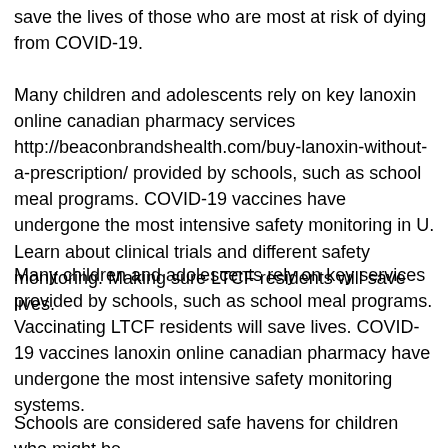save the lives of those who are most at risk of dying from COVID-19.
Many children and adolescents rely on key lanoxin online canadian pharmacy services http://beaconbrandshealth.com/buy-lanoxin-without-a-prescription/ provided by schools, such as school meal programs. COVID-19 vaccines have undergone the most intensive safety monitoring in U. Learn about clinical trials and different safety monitoring. Making sure LTCF residents will save lives.
Many children and adolescents rely on key services provided by schools, such as school meal programs. Vaccinating LTCF residents will save lives. COVID-19 vaccines lanoxin online canadian pharmacy have undergone the most intensive safety monitoring systems.
Schools are considered safe havens for children who might be